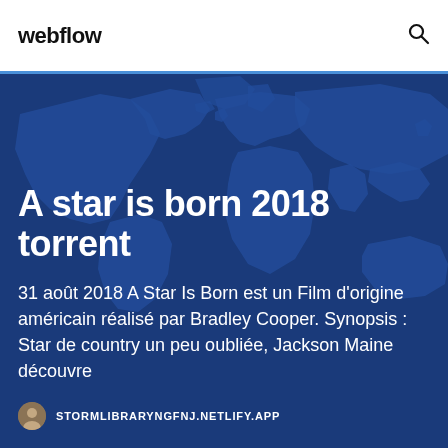webflow
A star is born 2018 torrent
31 août 2018 A Star Is Born est un Film d'origine américain réalisé par Bradley Cooper. Synopsis : Star de country un peu oubliée, Jackson Maine découvre
STORMLIBRARYNGFNJ.NETLIFY.APP